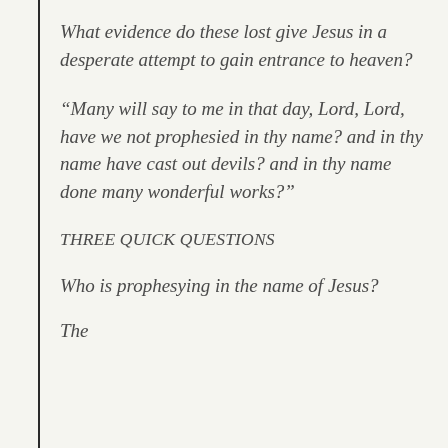What evidence do these lost give Jesus in a desperate attempt to gain entrance to heaven?
“Many will say to me in that day, Lord, Lord, have we not prophesied in thy name? and in thy name have cast out devils? and in thy name done many wonderful works?”
THREE QUICK QUESTIONS
Who is prophesying in the name of Jesus?
The could be the last visible line cut off at bottom